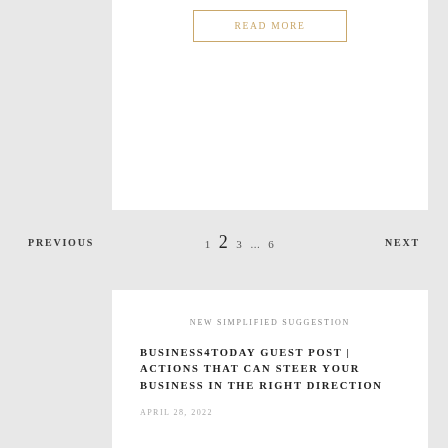[Figure (other): READ MORE button with gold border]
PREVIOUS  1  2  3  ...  6  NEXT
NEW SIMPLIFIED SUGGESTION
BUSINESS4TODAY GUEST POST | ACTIONS THAT CAN STEER YOUR BUSINESS IN THE RIGHT DIRECTION
APRIL 28, 2022
THREE RULES OF WORK